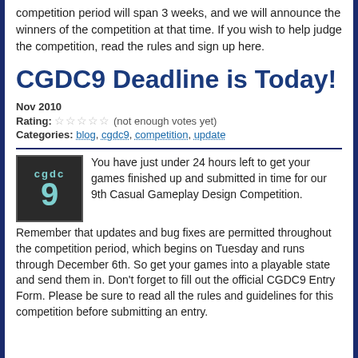competition period will span 3 weeks, and we will announce the winners of the competition at that time. If you wish to help judge the competition, read the rules and sign up here.
CGDC9 Deadline is Today!
Nov 2010
Rating: ☆☆☆☆☆ (not enough votes yet)
Categories: blog, cgdc9, competition, update
You have just under 24 hours left to get your games finished up and submitted in time for our 9th Casual Gameplay Design Competition. Remember that updates and bug fixes are permitted throughout the competition period, which begins on Tuesday and runs through December 6th. So get your games into a playable state and send them in. Don't forget to fill out the official CGDC9 Entry Form. Please be sure to read all the rules and guidelines for this competition before submitting an entry.